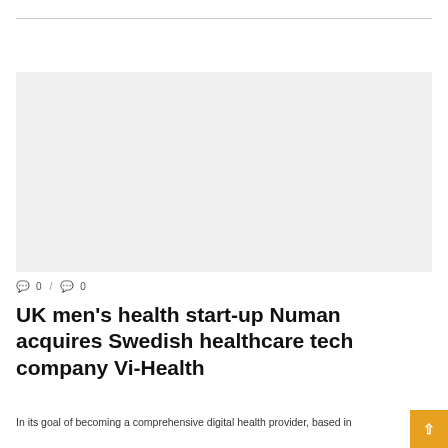MEN'S CLINIC
[Figure (photo): Article featured image placeholder for UK men's health article]
🗨 0 / 🗨 0
UK men's health start-up Numan acquires Swedish healthcare tech company Vi-Health
In its goal of becoming a comprehensive digital health provider, based in